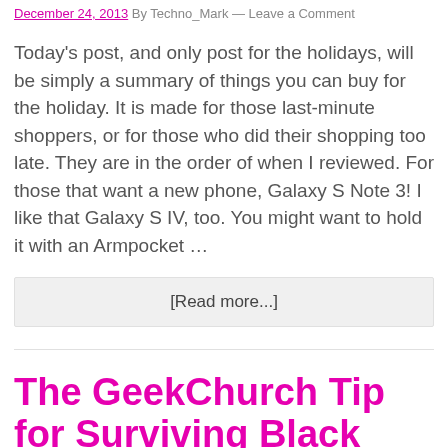December 24, 2013 By Techno_Mark — Leave a Comment
Today's post, and only post for the holidays, will be simply a summary of things you can buy for the holiday. It is made for those last-minute shoppers, or for those who did their shopping too late. They are in the order of when I reviewed. For those that want a new phone, Galaxy S Note 3! I like that Galaxy S IV, too. You might want to hold it with an Armpocket …
[Read more...]
The GeekChurch Tip for Surviving Black Friday: Think Trending…